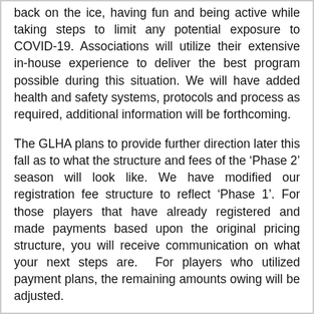back on the ice, having fun and being active while taking steps to limit any potential exposure to COVID-19. Associations will utilize their extensive in-house experience to deliver the best program possible during this situation. We will have added health and safety systems, protocols and process as required, additional information will be forthcoming.
The GLHA plans to provide further direction later this fall as to what the structure and fees of the ‘Phase 2’ season will look like. We have modified our registration fee structure to reflect ‘Phase 1’. For those players that have already registered and made payments based upon the original pricing structure, you will receive communication on what your next steps are.  For players who utilized payment plans, the remaining amounts owing will be adjusted.
There will be a second registration period with